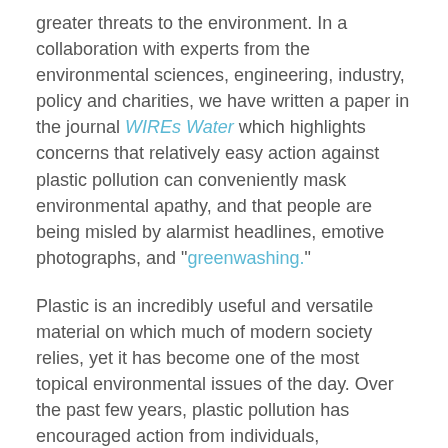greater threats to the environment. In a collaboration with experts from the environmental sciences, engineering, industry, policy and charities, we have written a paper in the journal WIREs Water which highlights concerns that relatively easy action against plastic pollution can conveniently mask environmental apathy, and that people are being misled by alarmist headlines, emotive photographs, and "greenwashing."
Plastic is an incredibly useful and versatile material on which much of modern society relies, yet it has become one of the most topical environmental issues of the day. Over the past few years, plastic pollution has encouraged action from individuals, organizations and governments at levels similar to some of the greatest threats to the environment, such as climate change and biodiversity loss.
This concern is well founded. Plastic pollution is